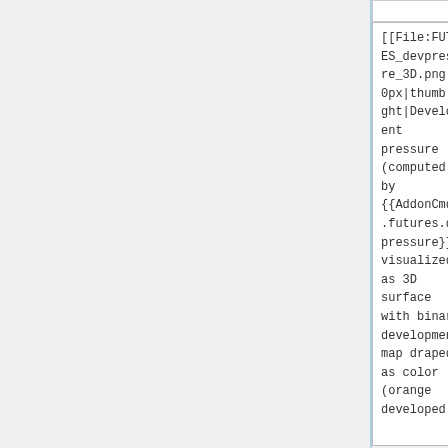[[File:FUTURES_devpressure_3D.png|200px|thumb|right|Development pressure (computed by {{AddonCmd|r.futures.devpressure}}) visualized as 3D surface with binary development map draped as color (orange developed
[[File:FUTURES_devpressure_3D.png|200px|thumb|right|Development pressure (computed by {{AddonCmd|r.futures.devpressure}}) visualized as 3D surface with binary development map draped as color (orange developed